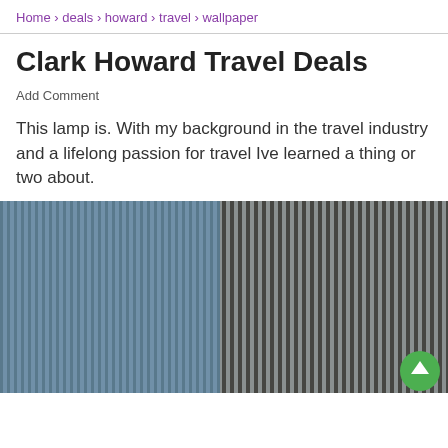Home > deals > howard > travel > wallpaper
Clark Howard Travel Deals
Add Comment
This lamp is. With my background in the travel industry and a lifelong passion for travel Ive learned a thing or two about.
[Figure (photo): Aerial or close-up view of corrugated metal or ridged wooden surface with blue-gray and brown tones, vertical ribbed pattern.]